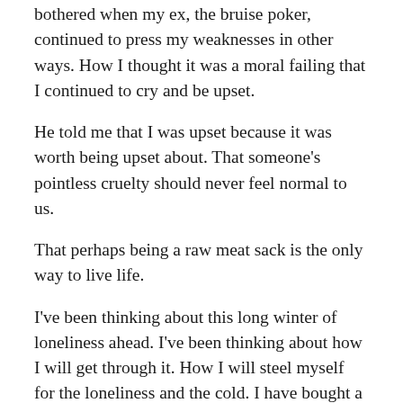bothered when my ex, the bruise poker, continued to press my weaknesses in other ways. How I thought it was a moral failing that I continued to cry and be upset.
He told me that I was upset because it was worth being upset about. That someone's pointless cruelty should never feel normal to us.
That perhaps being a raw meat sack is the only way to live life.
I've been thinking about this long winter of loneliness ahead. I've been thinking about how I will get through it. How I will steel myself for the loneliness and the cold. I have bought a lot of running gear for the winter. I have so many books. I have a big work project. But the thing I keep coming back to is, what's next? I mean, so